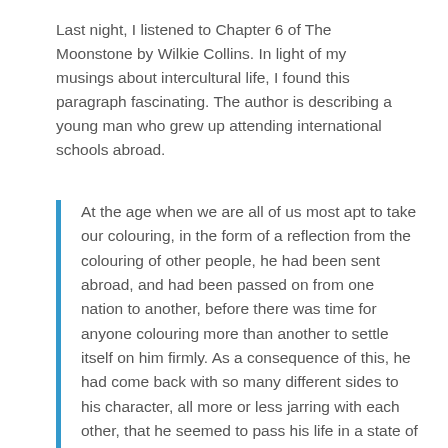Last night, I listened to Chapter 6 of The Moonstone by Wilkie Collins. In light of my musings about intercultural life, I found this paragraph fascinating. The author is describing a young man who grew up attending international schools abroad.
At the age when we are all of us most apt to take our colouring, in the form of a reflection from the colouring of other people, he had been sent abroad, and had been passed on from one nation to another, before there was time for anyone colouring more than another to settle itself on him firmly. As a consequence of this, he had come back with so many different sides to his character, all more or less jarring with each other, that he seemed to pass his life in a state of perpetual contradiction with himself. He could be a busy man, and a lazy man; cloudy in the